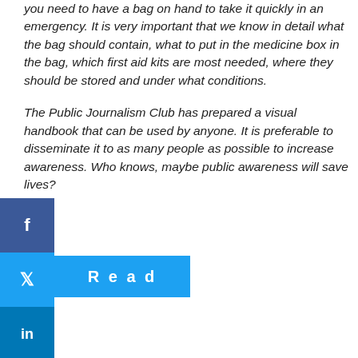you need to have a bag on hand to take it quickly in an emergency. It is very important that we know in detail what the bag should contain, what to put in the medicine box in the bag, which first aid kits are most needed, where they should be stored and under what conditions.
The Public Journalism Club has prepared a visual handbook that can be used by anyone. It is preferable to disseminate it to as many people as possible to increase awareness. Who knows, maybe public awareness will save lives?
[Figure (other): Social media sharing buttons: Facebook (blue), Twitter (light blue), LinkedIn (dark blue), plus/more (grey), and a Read button in light blue]